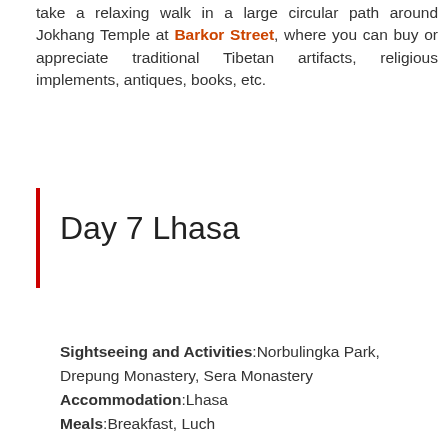take a relaxing walk in a large circular path around Jokhang Temple at Barkor Street, where you can buy or appreciate traditional Tibetan artifacts, religious implements, antiques, books, etc.
Day 7 Lhasa
Sightseeing and Activities:Norbulingka Park, Drepung Monastery, Sera Monastery
Accommodation:Lhasa
Meals:Breakfast, Luch